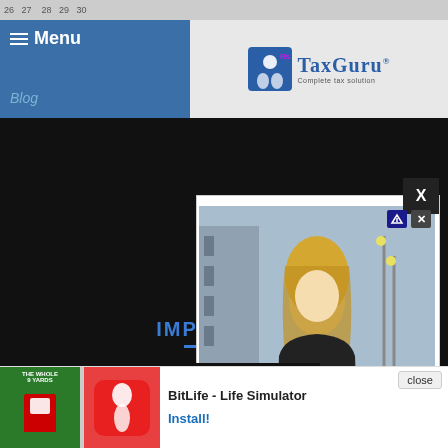Menu | 26 27 28 29 30 | TaxGuru - Complete tax solution | Blog
[Figure (screenshot): Screenshot of TaxGuru website with overlapping ad popups: a modal showing a blonde woman on a scooter (advertisement with close X button), a black video loading overlay with X button and loading spinner, and a bottom banner ad for BitLife - Life Simulator with Install button and close button. Background shows dark overlay with IMPORTANT heading and blue underline visible.]